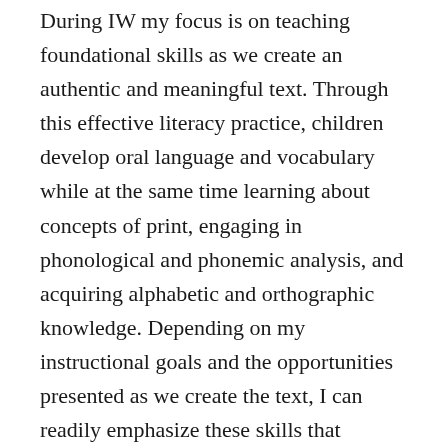During IW my focus is on teaching foundational skills as we create an authentic and meaningful text. Through this effective literacy practice, children develop oral language and vocabulary while at the same time learning about concepts of print, engaging in phonological and phonemic analysis, and acquiring alphabetic and orthographic knowledge. Depending on my instructional goals and the opportunities presented as we create the text, I can readily emphasize these skills that contribute to successful reading and writing.
For example, I can reinforce orthographic mapping. In a recent article by Nell Duke and Kelly Cartwright (2021), they state that the “links among phonology, orthography, and